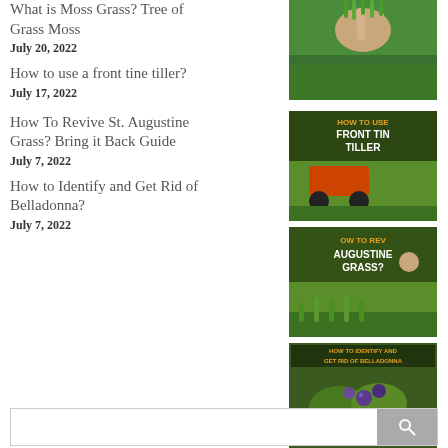What is Moss Grass? Tree of Grass Moss
July 20, 2022
How to use a front tine tiller?
July 17, 2022
How To Revive St. Augustine Grass? Bring it Back Guide
July 7, 2022
How to Identify and Get Rid of Belladonna?
July 7, 2022
[Figure (photo): Hand holding grass clump over lawn]
[Figure (photo): How to use front tine tiller thumbnail]
[Figure (photo): How to revive St. Augustine grass thumbnail]
[Figure (photo): How to identify and get rid of Belladonna thumbnail]
/* */